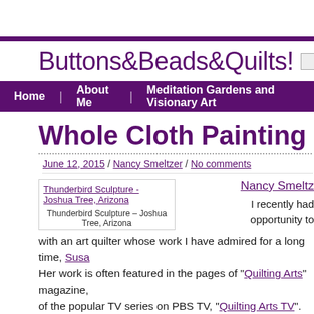Buttons&Beads&Quilts!
Home | About Me | Meditation Gardens and Visionary Art
Whole Cloth Painting on an Art Q
June 12, 2015 / Nancy Smeltzer / No comments
[Figure (photo): Thunderbird Sculpture – Joshua Tree, Arizona]
Thunderbird Sculpture – Joshua Tree, Arizona
Nancy Smeltz
I recently had opportunity to with an art quilter whose work I have admired for a long time, Susa Her work is often featured in the pages of "Quilting Arts" magazine, of the popular TV series on PBS TV, "Quilting Arts TV". To get in th by chance in a local arts newspaper, an announcement that a local organization, the Western North Carolina Quilter's Guild, was havin a few weeks just eight miles from where I live. I quickly contacted